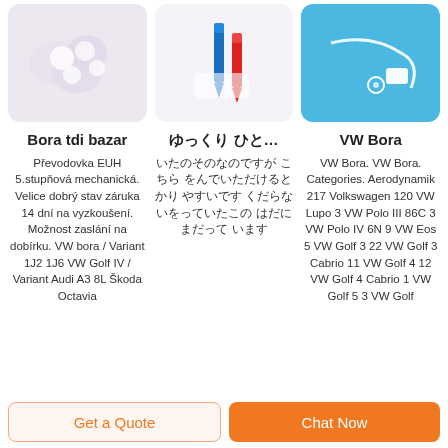[Figure (photo): Product image - white plastic components on light purple background]
[Figure (photo): Product image - blue and red pen-like items on white background]
[Figure (photo): Product image - medical tubing/catheter on blue background]
Bora tdi bazar
ゆっくり ひと…
VW Bora
Převodovka EUH 5.stupňová mechanická. Velice dobrý stav záruka 14 dní na vyzkoušení. Možnost zaslání na dobírku. VW bora / Variant 1J2 1J6 VW Golf IV / Variant Audi A3 8L Škoda Octavia
いたのそのなのですが こちら をんでいただけるとかり やすいです くだらないをっていたこの はだにまだって います
VW Bora. VW Bora. Categories. Aerodynamik 217 Volkswagen 120 VW Lupo 3 VW Polo III 86C 3 VW Polo IV 6N 9 VW Eos 5 VW Golf 3 22 VW Golf 3 Cabrio 11 VW Golf 4 12 VW Golf 4 Cabrio 1 VW Golf 5 3 VW Golf
Get a Quote
Chat Now